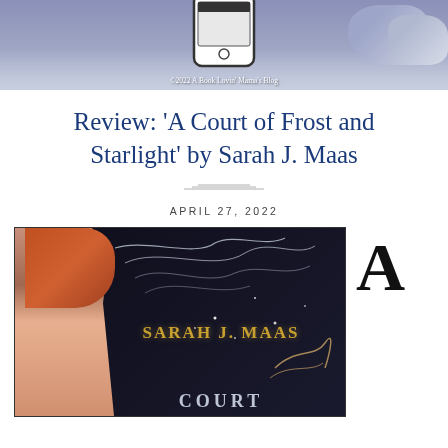[Figure (screenshot): Blog header image showing a smartphone icon overlaid on a snowy/wintry scene background. Copyright text reads '©2022 A Book Lovin' Mama's Blog']
Review: 'A Court of Frost and Starlight' by Sarah J. Maas
APRIL 27, 2022
[Figure (photo): Book cover of 'A Court of Frost and Starlight' by Sarah J. Maas, showing a woman with red hair in profile, ornate silver swirling designs on a dark background, with the author name 'SARAH J. MAAS' in gold letters and partial word 'COURT' at the bottom. To the right of the cover is a large drop-cap letter 'A'.]